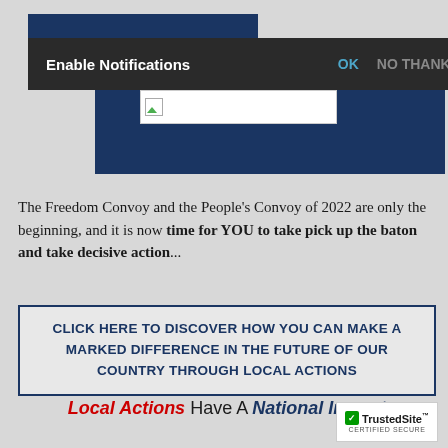[Figure (screenshot): Screenshot of a website with a dark navy blue header and notification bar overlay reading 'Enable Notifications OK NO THANKS', with a partial image placeholder in a dark blue content area below.]
The Freedom Convoy and the People's Convoy of 2022 are only the beginning, and it is now time for YOU to take pick up the baton and take decisive action...
CLICK HERE TO DISCOVER HOW YOU CAN MAKE A MARKED DIFFERENCE IN THE FUTURE OF OUR COUNTRY THROUGH LOCAL ACTIONS
Local Actions Have A National Impact